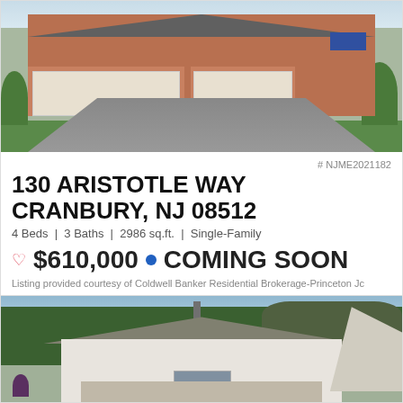[Figure (photo): Exterior photo of a suburban two-car garage brick home with green lawn and landscaping, blue shutters]
# NJME2021182
130 ARISTOTLE WAY
CRANBURY, NJ 08512
4 Beds | 3 Baths | 2986 sq.ft. | Single-Family
♡ $610,000 • COMING SOON
Listing provided courtesy of Coldwell Banker Residential Brokerage-Princeton Jc
[Figure (photo): Exterior photo of a white colonial-style home with trees in the background and a triangular roof section visible on the right]